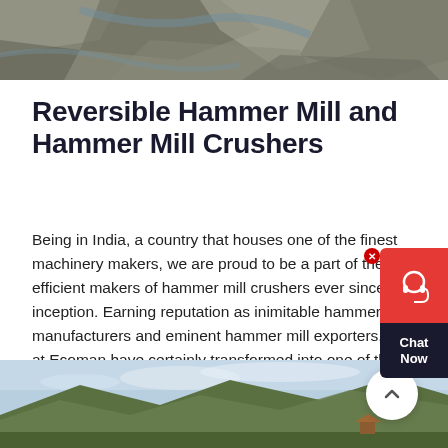[Figure (photo): Top partial photo showing rocky/stone surface, cropped, appearing at top of page]
Reversible Hammer Mill and Hammer Mill Crushers
Being in India, a country that houses one of the finest machinery makers, we are proud to be a part of the most efficient makers of hammer mill crushers ever since our inception. Earning reputation as inimitable hammer mill manufacturers and eminent hammer mill exporters, we at Ecoman have certainly transformed into one of the most reliable hammer mill makers among the best ones in the country.
[Figure (photo): Bottom partial photo showing outdoor landscape with hills/mountains and sky, partially visible at bottom of page]